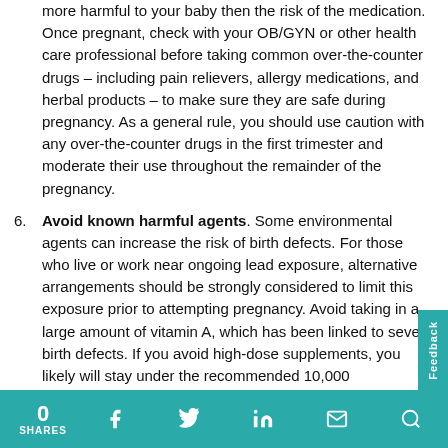more harmful to your baby then the risk of the medication. Once pregnant, check with your OB/GYN or other health care professional before taking common over-the-counter drugs – including pain relievers, allergy medications, and herbal products – to make sure they are safe during pregnancy. As a general rule, you should use caution with any over-the-counter drugs in the first trimester and moderate their use throughout the remainder of the pregnancy.
Avoid known harmful agents. Some environmental agents can increase the risk of birth defects. For those who live or work near ongoing lead exposure, alternative arrangements should be strongly considered to limit this exposure prior to attempting pregnancy. Avoid taking in a large amount of vitamin A, which has been linked to severe birth defects. If you avoid high-dose supplements, you likely will stay under the recommended 10,000 international units (IUs) of vitamin A per day. It's also important to limit your exposure to mercury by not eating fish with high mercury content, such as shark, swordfish, king mackerel, and tilefish. You do not have to avoid all
0 SHARES | Facebook | Twitter | LinkedIn | Email | Search | Feedback